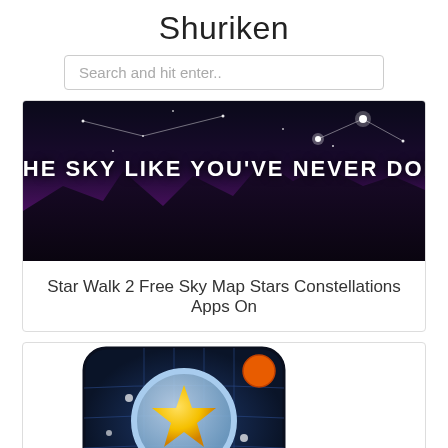Shuriken
Search and hit enter..
[Figure (screenshot): Banner image of night sky with constellations and text 'EXPLORE THE SKY LIKE YOU'VE NEVER DONE BEFORE']
Star Walk 2 Free Sky Map Stars Constellations Apps On
[Figure (illustration): App icon showing a magnifying glass with a yellow star over a dark blue grid globe, with orange and green planet dots]